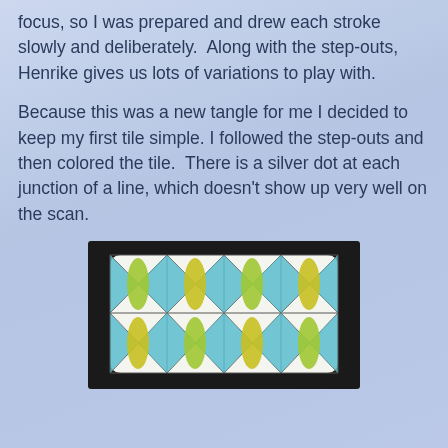focus, so I was prepared and drew each stroke slowly and deliberately.  Along with the step-outs, Henrike gives us lots of variations to play with.
Because this was a new tangle for me I decided to keep my first tile simple. I followed the step-outs and then colored the tile.  There is a silver dot at each junction of a line, which doesn't show up very well on the scan.
[Figure (photo): A photograph of a hand-drawn Zentangle tile on white paper with a black border/mat. The tile shows a repeating pattern with triangular grid lines forming diamond/leaf shapes, colored in teal/turquoise blue and yellow-green (chartreuse). The leaves are elongated pointed shapes alternating directions within the grid.]